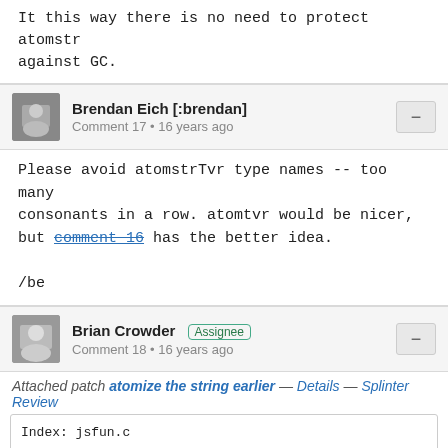It this way there is no need to protect atomstr against GC.
Brendan Eich [:brendan]
Comment 17 • 16 years ago
Please avoid atomstrTvr type names -- too many consonants in a row. atomtvr would be nicer, but comment 16 has the better idea.

/be
Brian Crowder [Assignee]
Comment 18 • 16 years ago
Attached patch atomize the string earlier — Details — Splinter Review
Index: jsfun.c
========================================================
RCS file: /cvsroot/mozilla/js/src/jsfun.c,v
retrieving revision 3.117.2.7.2.12
diff -u -p -8 -r3.117.2.7.2.12 jsfun.c